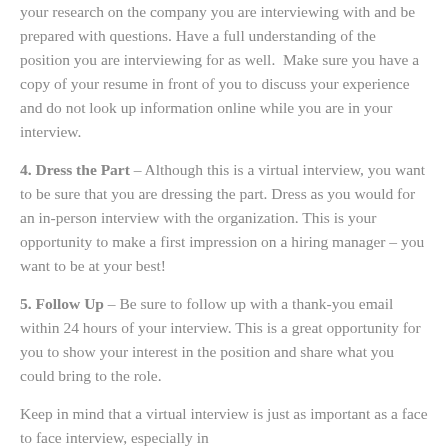your research on the company you are interviewing with and be prepared with questions. Have a full understanding of the position you are interviewing for as well.  Make sure you have a copy of your resume in front of you to discuss your experience and do not look up information online while you are in your interview.
4. Dress the Part – Although this is a virtual interview, you want to be sure that you are dressing the part. Dress as you would for an in-person interview with the organization. This is your opportunity to make a first impression on a hiring manager – you want to be at your best!
5. Follow Up – Be sure to follow up with a thank-you email within 24 hours of your interview. This is a great opportunity for you to show your interest in the position and share what you could bring to the role.
Keep in mind that a virtual interview is just as important as a face to face interview, especially in